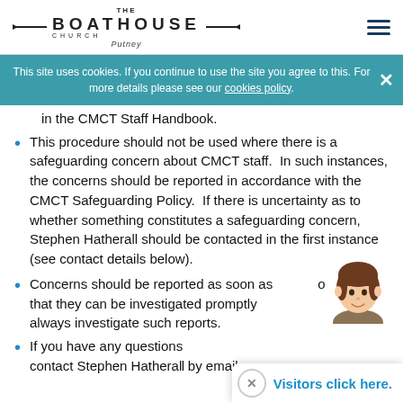The Boathouse Church Putney
This site uses cookies. If you continue to use the site you agree to this. For more details please see our cookies policy.
in the CMCT Staff Handbook.
This procedure should not be used where there is a safeguarding concern about CMCT staff. In such instances, the concerns should be reported in accordance with the CMCT Safeguarding Policy. If there is uncertainty as to whether something constitutes a safeguarding concern, Stephen Hatherall should be contacted in the first instance (see contact details below).
Concerns should be reported as soon as [possible so] that they can be investigated promptly [CMCT will] always investigate such reports.
If you have any questions[,] contact Stephen Hathera[ll] by email...
[Figure (illustration): Cartoon avatar of a person with brown hair]
Visitors click here.